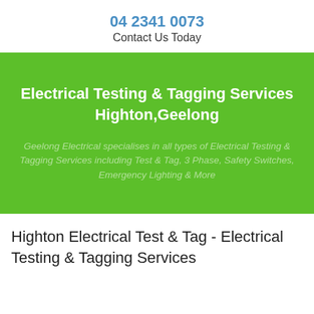04 2341 0073
Contact Us Today
Electrical Testing & Tagging Services Highton,Geelong
Geelong Electrical specialises in all types of Electrical Testing & Tagging Services including Test & Tag, 3 Phase, Safety Switches, Emergency Lighting & More
Highton Electrical Test & Tag - Electrical Testing & Tagging Services